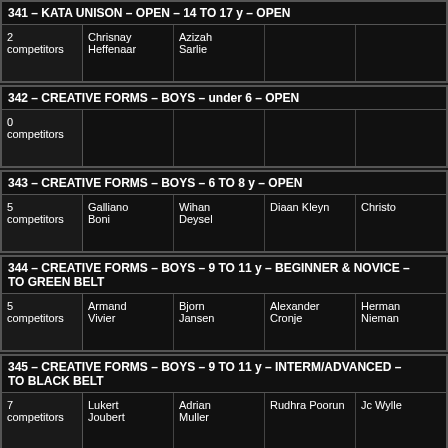341 – KATA UNISON – OPEN – 14 TO 17 y – OPEN
| competitors | 1st | 2nd | 3rd | 4th |
| --- | --- | --- | --- | --- |
| 2 competitors | Chrisnay Heffenaar | Azizah Sarlie |  |  |
342 – CREATIVE FORMS – BOYS – under 6 – OPEN
| competitors | 1st | 2nd | 3rd | 4th |
| --- | --- | --- | --- | --- |
| 0 competitors |  |  |  |  |
343 – CREATIVE FORMS – BOYS – 6 TO 8 y – OPEN
| competitors | 1st | 2nd | 3rd | 4th |
| --- | --- | --- | --- | --- |
| 5 competitors | Galliano Boni | Wihan Deysel | Diaan Kleyn | Christo |
344 – CREATIVE FORMS – BOYS – 9 TO 11 y – BEGINNER & NOVICE – TO GREEN BELT
| competitors | 1st | 2nd | 3rd | 4th |
| --- | --- | --- | --- | --- |
| 5 competitors | Armand Vivier | Bjorn Jansen | Alexander Cronje | Herman Nieman |
345 – CREATIVE FORMS – BOYS – 9 TO 11 y – INTERM/ADVANCED – TO BLACK BELT
| competitors | 1st | 2nd | 3rd | 4th |
| --- | --- | --- | --- | --- |
| 7 competitors | Lukert Joubert | Adrian Muller | Rudhra Poorun | Jc Wyllie |
346 – CREATIVE FORMS – BOYS – 12 TO 14 y – BEGINNER & NOVICE